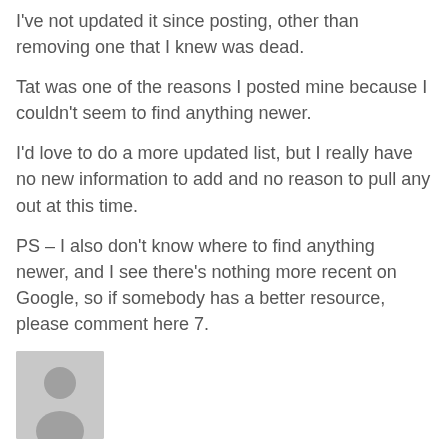I've not updated it since posting, other than removing one that I knew was dead.
Tat was one of the reasons I posted mine because I couldn't seem to find anything newer.
I'd love to do a more updated list, but I really have no new information to add and no reason to pull any out at this time.
PS – I also don't know where to find anything newer, and I see there's nothing more recent on Google, so if somebody has a better resource, please comment here 7.
[Figure (photo): Generic user avatar placeholder image — grey silhouette of a person on light grey background]
BioTecK on May 14, 2008 at 11:05 am
I just tried to find if the list is updated, and like you said...